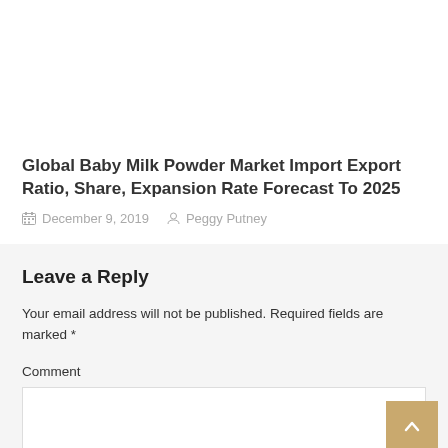Global Baby Milk Powder Market Import Export Ratio, Share, Expansion Rate Forecast To 2025
December 9, 2019   Peggy Putney
Leave a Reply
Your email address will not be published. Required fields are marked *
Comment